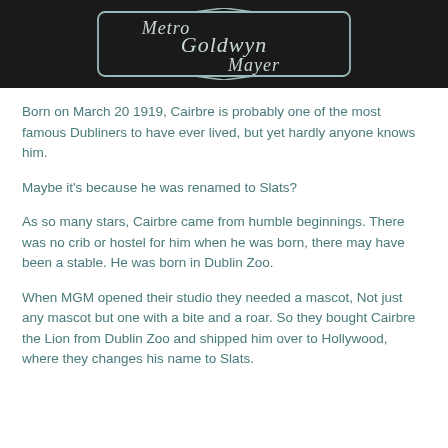[Figure (logo): Metro Goldwyn Mayer logo — white stylized text on black background with decorative border]
Born on March 20 1919, Cairbre is probably one of the most famous Dubliners to have ever lived, but yet hardly anyone knows him.
Maybe it's because he was renamed to Slats?
As so many stars, Cairbre came from humble beginnings. There was no crib or hostel for him when he was born, there may have been a stable. He was born in Dublin Zoo.
When MGM opened their studio they needed a mascot, Not just any mascot but one with a bite and a roar. So they bought Cairbre the Lion from Dublin Zoo and shipped him over to Hollywood, where they changes his name to Slats.